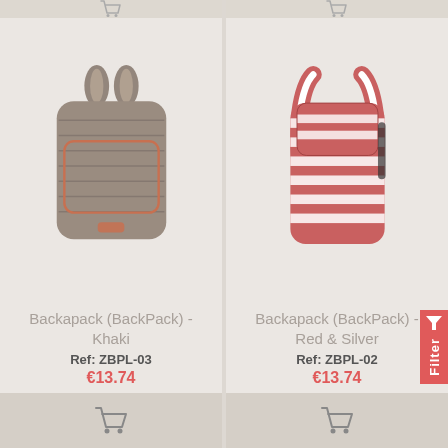[Figure (photo): Khaki backpack product image]
Backapack (BackPack) - Khaki
Ref: ZBPL-03
€13.74
[Figure (photo): Red & Silver striped backpack product image]
Backapack (BackPack) - Red & Silver
Ref: ZBPL-02
€13.74